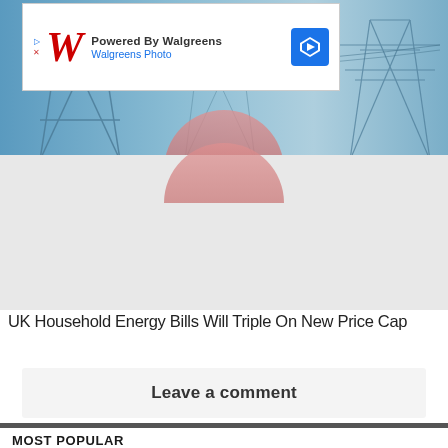[Figure (photo): Hero image of electrical pylons/power transmission towers against a light blue sky, partially obscured by an advertisement overlay. A pink/red semi-circular graphic element is visible near the center-top of the content area below the image.]
[Figure (other): Advertisement overlay: Powered By Walgreens / Walgreens Photo, with red stylized W logo and blue diamond arrow icon.]
UK Household Energy Bills Will Triple On New Price Cap
Leave a comment
MOST POPULAR